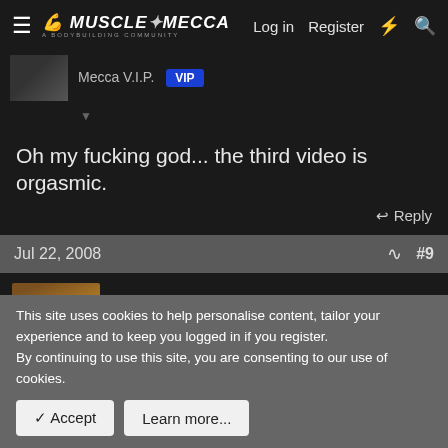Muscle Mecca — Log in   Register
Mecca V.I.P.   VIP
Oh my fucking god... the third video is orgasmic.
Reply
Jul 22, 2008   #9
Deathmaggot
Mecca V.I.P.   VIP
dont you feel the physics are great, but gameplay is lacking some work? the bullet detection is somewhat behind the average games i think..
This site uses cookies to help personalise content, tailor your experience and to keep you logged in if you register.
By continuing to use this site, you are consenting to our use of cookies.
Accept   Learn more...